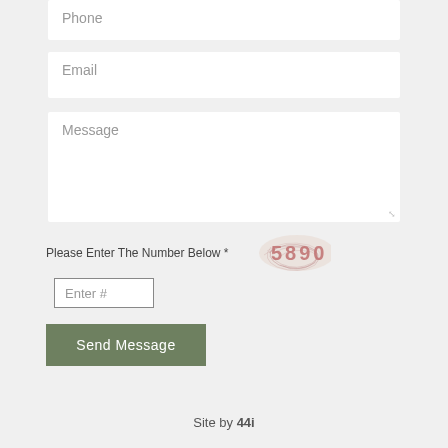Phone
Email
Message
Please Enter The Number Below *  5890
Enter #
Send Message
Site by 44i